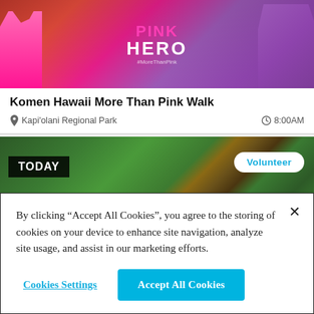[Figure (photo): Photo of Komen Hawaii More Than Pink Walk event with pink-dressed participants and a 'PINK HERO' banner visible]
Komen Hawaii More Than Pink Walk
Kapi'olani Regional Park   8:00AM
[Figure (photo): Volunteers working outdoors near a muddy stream with green vegetation; TODAY badge on left; Volunteer button on right]
By clicking “Accept All Cookies”, you agree to the storing of cookies on your device to enhance site navigation, analyze site usage, and assist in our marketing efforts.
Cookies Settings
Accept All Cookies